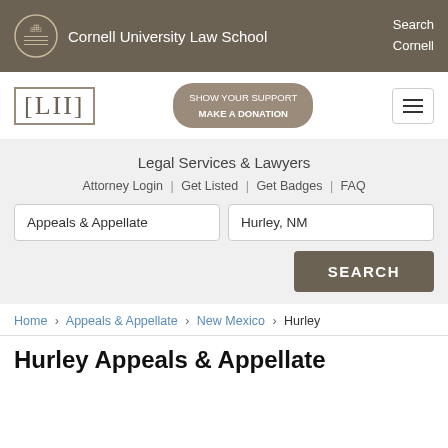Cornell University Law School | Search Cornell
[Figure (logo): LII logo with [LII] bracket text and Make a Donation button]
Legal Services & Lawyers
Attorney Login | Get Listed | Get Badges | FAQ
Appeals & Appellate [search field] Hurley, NM [search field] SEARCH [button]
Home › Appeals & Appellate › New Mexico › Hurley
Hurley Appeals & Appellate